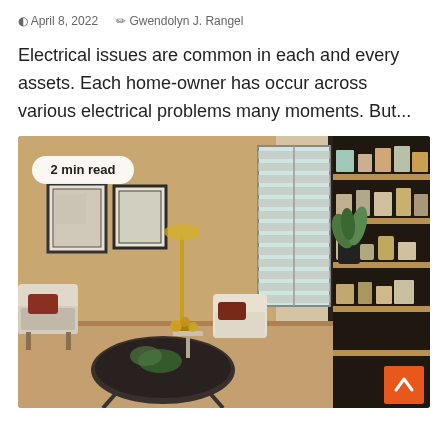April 8, 2022   Gwendolyn J. Rangel
Electrical issues are common in each and every assets. Each home-owner has occur across various electrical problems many moments. But...
[Figure (photo): Interior photo of a modern living room with wood-paneled walls, two framed artworks, louvered window shutters, an open shelving unit with decorative items, two upholstered armchairs, a round glass coffee table, a brass floor lamp, and a potted plant. A '2 min read' badge is overlaid in the upper left. An orange scroll-to-top button is in the lower right corner.]